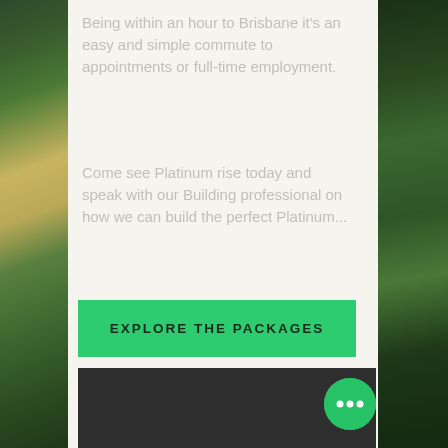[Figure (photo): Aerial photo of green landscape with trees, shown as left and right side strips behind the main content panel]
Being within an hour to Brisbane it's an easy and simple commute to appointments or full-time employment.
Come see Platinum rise today and speak with our Building professional on how we can build the perfect Platinum...
EXPLORE THE PACKAGES
[Figure (other): Dark gray rectangular block, likely a video player or image placeholder]
[Figure (other): Green circular button with three white dots (ellipsis/more options)]